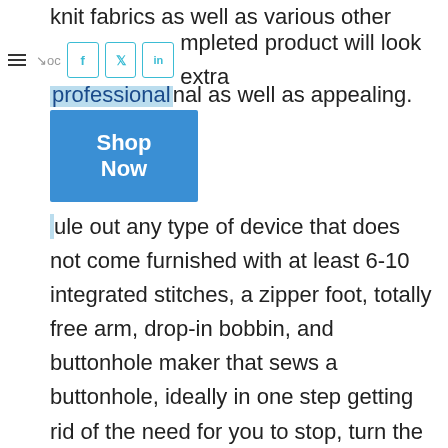knit fabrics as well as various other great
mpleted product will look extra professional as well as appealing.
ule out any type of device that does not come furnished with at least 6-10 integrated stitches, a zipper foot, totally free arm, drop-in bobbin, and buttonhole maker that sews a buttonhole, ideally in one step getting rid of the need for you to stop, turn the textile and adjust the dial.
Whether mechanical or electronic, each one will have fundamental functions as well as sew functions that will permit you to stitch a variety of fabrics using straight or zigzag stitches as